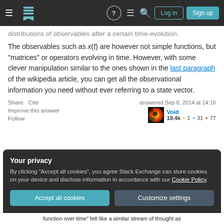Stack Exchange navigation bar with Log in and Sign up buttons
distributions of observables after a certain time-evolution. The observables such as x(t) are however not simple functions, but "matrices" or operators evolving in time. However, with some clever manipulation similar to the ones shown in the last paragraph of the wikipedia article, you can get all the observational information you need without ever referring to a state vector.
Share   Cite
Improve this answer
Follow
answered Sep 8, 2014 at 14:16
Void
18.4k  1  31  77
Your privacy
By clicking "Accept all cookies", you agree Stack Exchange can store cookies on your device and disclose information in accordance with our Cookie Policy.
Accept all cookies   Customize settings
function over time" felt like a similar stream of thought as